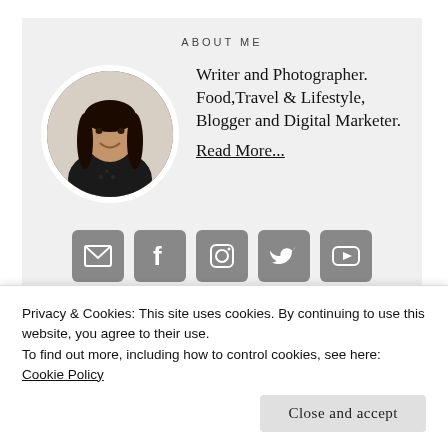ABOUT ME
[Figure (photo): Circular profile photo of a young woman with long dark hair, smiling, wearing a black jacket]
Writer and Photographer. Food,Travel & Lifestyle, Blogger and Digital Marketer. Read More...
[Figure (infographic): Five social media icon buttons: email, Facebook, Instagram, Twitter, YouTube — grey rounded square buttons]
Privacy & Cookies: This site uses cookies. By continuing to use this website, you agree to their use.
To find out more, including how to control cookies, see here: Cookie Policy
Close and accept